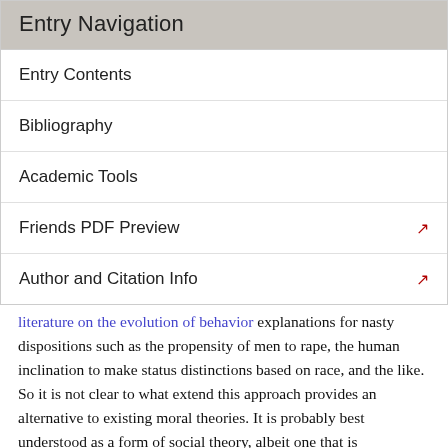Entry Navigation
Entry Contents
Bibliography
Academic Tools
Friends PDF Preview
Author and Citation Info
literature on the evolution of behavior explanations for nasty dispositions such as the propensity of men to rape, the human inclination to make status distinctions based on race, and the like. So it is not clear to what extend this approach provides an alternative to existing moral theories. It is probably best understood as a form of social theory, albeit one that is ambivalent as to whether it is an empirically informed theory or a form of a priori theorizing (Sugden 2001). Of course, one may come to think that evolutionary game theory is not an alternative to moral theory as much as a vehicle for undermining or